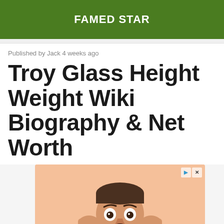FAMED STAR
Published by Jack 4 weeks ago
Troy Glass Height Weight Wiki Biography & Net Worth
[Figure (photo): Advertisement image showing a surprised man with hands on face against a peach/orange background, with ad control buttons in top right corner.]